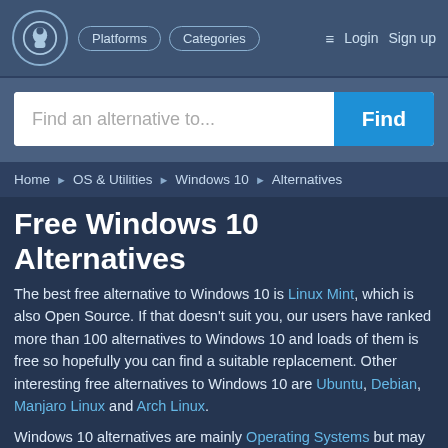Platforms  Categories  Login  Sign up
Find an alternative to...
Home ▶ OS & Utilities ▶ Windows 10 ▶ Alternatives
Free Windows 10 Alternatives
The best free alternative to Windows 10 is Linux Mint, which is also Open Source. If that doesn't suit you, our users have ranked more than 100 alternatives to Windows 10 and loads of them is free so hopefully you can find a suitable replacement. Other interesting free alternatives to Windows 10 are Ubuntu, Debian, Manjaro Linux and Arch Linux.
Windows 10 alternatives are mainly Operating Systems but may also be Linux Distros. Filter by these if you want a narrower list of alternatives or looking for a specific functionality of Windows 10.